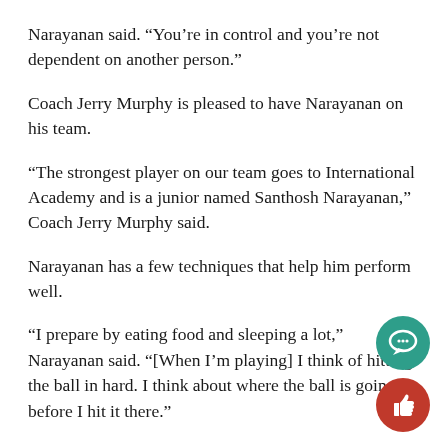Narayanan said. “You’re in control and you’re not dependent on another person.”
Coach Jerry Murphy is pleased to have Narayanan on his team.
“The strongest player on our team goes to International Academy and is a junior named Santhosh Narayanan,” Coach Jerry Murphy said.
Narayanan has a few techniques that help him perform well.
“I prepare by eating food and sleeping a lot,” Narayanan said. “[When I’m playing] I think of hitting the ball in hard. I think about where the ball is going before I hit it there.”
Number two doubles player, senior Brenden Beckstorm a few of his own techniques as well.
“We just work it,” Beckstrom said. “We use signals and